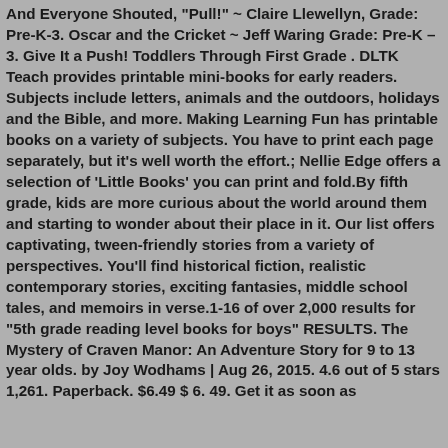And Everyone Shouted, "Pull!" ~ Claire Llewellyn, Grade: Pre-K-3. Oscar and the Cricket ~ Jeff Waring Grade: Pre-K – 3. Give It a Push! Toddlers Through First Grade . DLTK Teach provides printable mini-books for early readers. Subjects include letters, animals and the outdoors, holidays and the Bible, and more. Making Learning Fun has printable books on a variety of subjects. You have to print each page separately, but it's well worth the effort.; Nellie Edge offers a selection of 'Little Books' you can print and fold.By fifth grade, kids are more curious about the world around them and starting to wonder about their place in it. Our list offers captivating, tween-friendly stories from a variety of perspectives. You'll find historical fiction, realistic contemporary stories, exciting fantasies, middle school tales, and memoirs in verse.1-16 of over 2,000 results for "5th grade reading level books for boys" RESULTS. The Mystery of Craven Manor: An Adventure Story for 9 to 13 year olds. by Joy Wodhams | Aug 26, 2015. 4.6 out of 5 stars 1,261. Paperback. $6.49 $ 6. 49. Get it as soon as